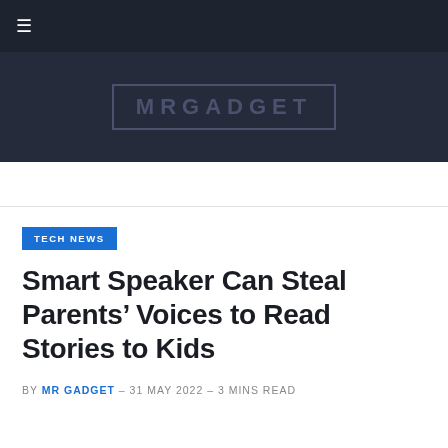☰
[Figure (logo): MR GADGET logo text in a bordered rectangle on dark background]
TECH NEWS
Smart Speaker Can Steal Parents' Voices to Read Stories to Kids
BY MR GADGET – 31 MAY 2022 – 3 MINS READ